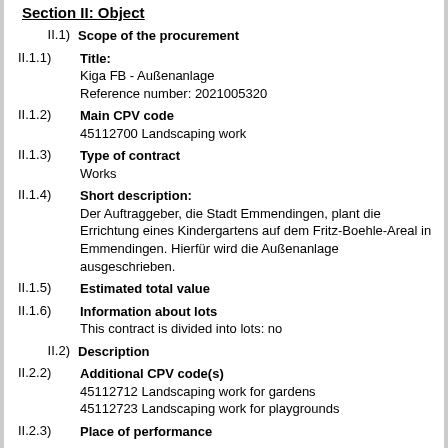Section II: Object
II.1) Scope of the procurement
II.1.1) Title: Kiga FB - Außenanlage Reference number: 2021005320
II.1.2) Main CPV code 45112700 Landscaping work
II.1.3) Type of contract Works
II.1.4) Short description: Der Auftraggeber, die Stadt Emmendingen, plant die Errichtung eines Kindergartens auf dem Fritz-Boehle-Areal in Emmendingen. Hierfür wird die Außenanlage ausgeschrieben.
II.1.5) Estimated total value
II.1.6) Information about lots This contract is divided into lots: no
II.2) Description
II.2.2) Additional CPV code(s) 45112712 Landscaping work for gardens 45112723 Landscaping work for playgrounds
II.2.3) Place of performance